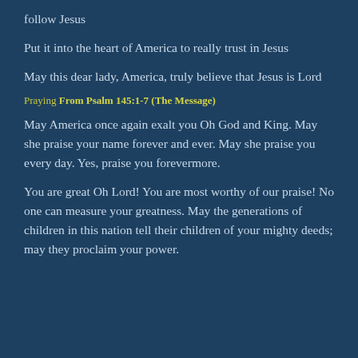follow Jesus
Put it into the heart of America to really trust in Jesus
May this dear lady, America, truly believe that Jesus is Lord
Praying From Psalm 145:1-7 (The Message)
May America once again exalt you Oh God and King. May she praise your name forever and ever. May she praise you every day. Yes, praise you forevermore.
You are great Oh Lord! You are most worthy of our praise! No one can measure your greatness. May the generations of children in this nation tell their children of your mighty deeds; may they proclaim your power.